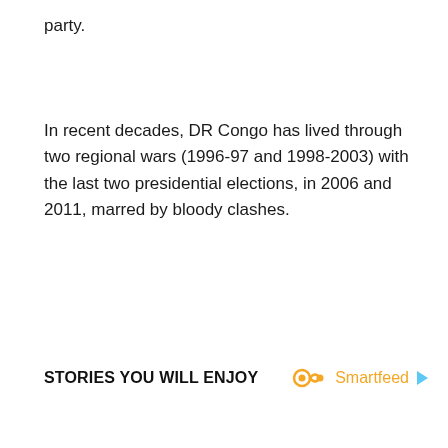party.
In recent decades, DR Congo has lived through two regional wars (1996-97 and 1998-2003) with the last two presidential elections, in 2006 and 2011, marred by bloody clashes.
STORIES YOU WILL ENJOY